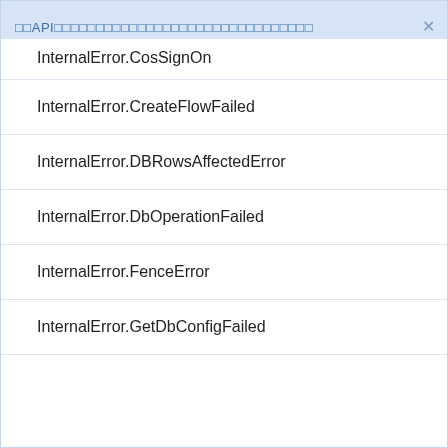□□API□□□□□□□□□□□□□□□□□□□□□□□□□□□□□□□
InternalError.CosSignOn
InternalError.CreateFlowFailed
InternalError.DBRowsAffectedError
InternalError.DbOperationFailed
InternalError.FenceError
InternalError.GetDbConfigFailed